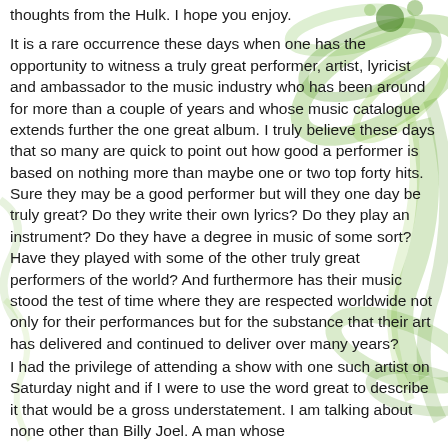thoughts from the Hulk. I hope you enjoy.
It is a rare occurrence these days when one has the opportunity to witness a truly great performer, artist, lyricist and ambassador to the music industry who has been around for more than a couple of years and whose music catalogue extends further the one great album. I truly believe these days that so many are quick to point out how good a performer is based on nothing more than maybe one or two top forty hits. Sure they may be a good performer but will they one day be truly great? Do they write their own lyrics? Do they play an instrument? Do they have a degree in music of some sort? Have they played with some of the other truly great performers of the world? And furthermore has their music stood the test of time where they are respected worldwide not only for their performances but for the substance that their art has delivered and continued to deliver over many years?
I had the privilege of attending a show with one such artist on Saturday night and if I were to use the word great to describe it that would be a gross understatement. I am talking about none other than Billy Joel. A man whose